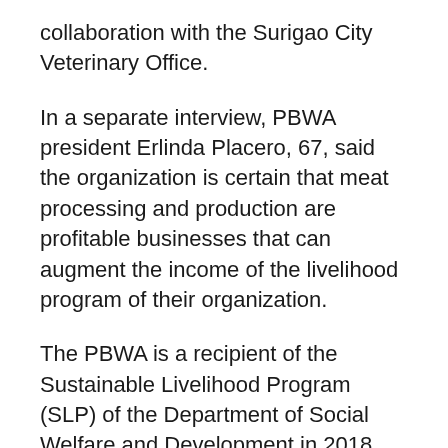collaboration with the Surigao City Veterinary Office.
In a separate interview, PBWA president Erlinda Placero, 67, said the organization is certain that meat processing and production are profitable businesses that can augment the income of the livelihood program of their organization.
The PBWA is a recipient of the Sustainable Livelihood Program (SLP) of the Department of Social Welfare and Development in 2018.
“Our organization received PHP444,000 livelihood assistance through the SLP which we used in different projects,” Placeros said.